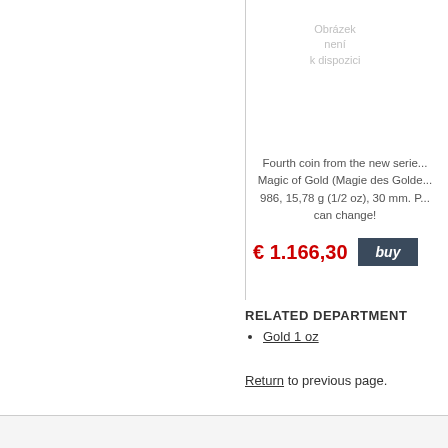[Figure (other): No image available placeholder — 'Obrázek není k dispozici' in light grey text]
Fourth coin from the new series Magic of Gold (Magie des Golde... 986, 15,78 g (1/2 oz), 30 mm. P... can change!
€ 1.166,30
buy
RELATED DEPARTMENT
Gold 1 oz
Return to previous page.